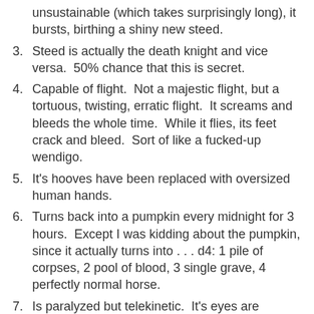unsustainable (which takes surprisingly long), it bursts, birthing a shiny new steed.
3. Steed is actually the death knight and vice versa.  50% chance that this is secret.
4. Capable of flight.  Not a majestic flight, but a tortuous, twisting, erratic flight.  It screams and bleeds the whole time.  While it flies, its feet crack and bleed.  Sort of like a fucked-up wendigo.
5. It's hooves have been replaced with oversized human hands.
6. Turns back into a pumpkin every midnight for 3 hours.  Except I was kidding about the pumpkin, since it actually turns into . . . d4: 1 pile of corpses, 2 pool of blood, 3 single grave, 4 perfectly normal horse.
7. Is paralyzed but telekinetic.  It's eyes are glassed over with freakish knowledge.  It has seen more than any horse should ever have seen.
8. Can launch poisonous harpoon from throat, then reel it it.
9. Has seams, zippers.  Seems to be something, or a group of somethings, wearing a horse suit.  Opening